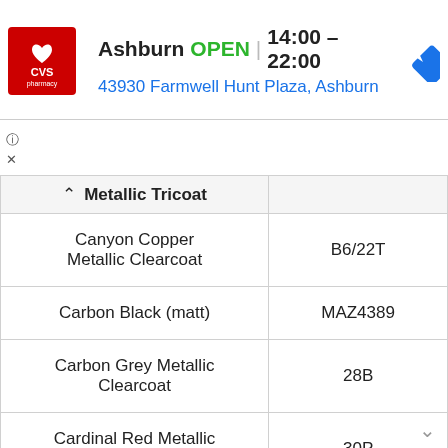[Figure (screenshot): CVS Pharmacy map popup showing Ashburn location open 14:00-22:00 at 43930 Farmwell Hunt Plaza, Ashburn with navigation icon]
| Metallic Tricoat |  |
| --- | --- |
| Canyon Copper Metallic Clearcoat | B6/22T |
| Carbon Black (matt) | MAZ4389 |
| Carbon Grey Metallic Clearcoat | 28B |
| Cardinal Red Metallic Clearcoat | 30P |
| Caribbean Blue | 4Y |